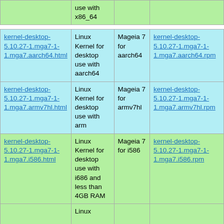| Package | Description | Distribution | RPM |
| --- | --- | --- | --- |
| (partial — x86_64 row top) | use with x86_64 |  |  |
| kernel-desktop-5.10.27-1.mga7-1-1.mga7.aarch64.html | Linux Kernel for desktop use with aarch64 | Mageia 7 for aarch64 | kernel-desktop-5.10.27-1.mga7-1-1.mga7.aarch64.rpm |
| kernel-desktop-5.10.27-1.mga7-1-1.mga7.armv7hl.html | Linux Kernel for desktop use with arm | Mageia 7 for armv7hl | kernel-desktop-5.10.27-1.mga7-1-1.mga7.armv7hl.rpm |
| kernel-desktop-5.10.27-1.mga7-1-1.mga7.i586.html | Linux Kernel for desktop use with i686 and less than 4GB RAM | Mageia 7 for i586 | kernel-desktop-5.10.27-1.mga7-1-1.mga7.i586.rpm |
| (partial) | Linux ... |  |  |